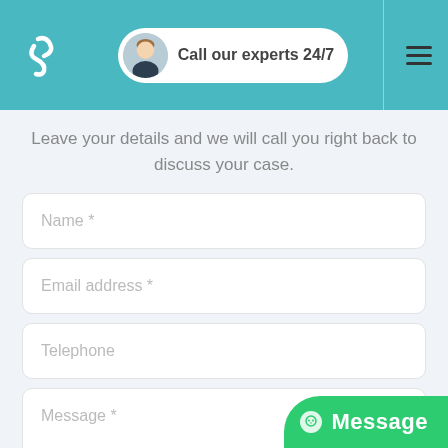[Figure (logo): Company logo with stylized S/spiral shape in white on teal background]
[Figure (infographic): Call our experts 24/7 badge with circular avatar photo of a smiling man]
Leave your details and we will call you right back to discuss your case.
Name *
Email address *
Telephone
Message *
You agree to our Terms and Privacy Policy
[Figure (screenshot): Green Message button with alien/chat icon at bottom right]